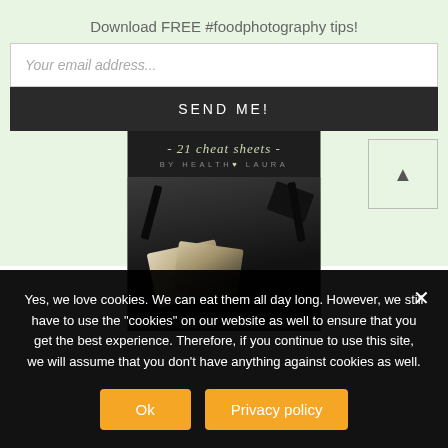Download FREE #foodphotography tips!
[Figure (screenshot): Email input field with placeholder 'Your email address...' and a dark 'SEND ME!' button below it, followed by a book cover image showing '- 21 cheat sheets - BY HEALTHY LAURA' with food photography]
Yes, we love cookies. We can eat them all day long. However, we still have to use the "cookies" on our website as well to ensure that you get the best experience. Therefore, if you continue to use this site, we will assume that you don't have anything against cookies as well.